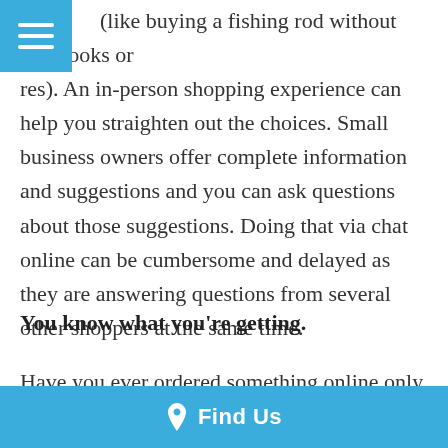[Figure (other): Blue hamburger menu icon in top-left corner]
(like buying a fishing rod without any hooks or lures). An in-person shopping experience can help you straighten out the choices. Small business owners offer complete information and suggestions and you can ask questions about those suggestions. Doing that via chat online can be cumbersome and delayed as they are answering questions from several other shoppers at the same time.
You know what you're getting.
Have you ever ordered something online only to be disappointed when it arrives? Maybe it's smaller than you thought or the color is just too much.
Find Us